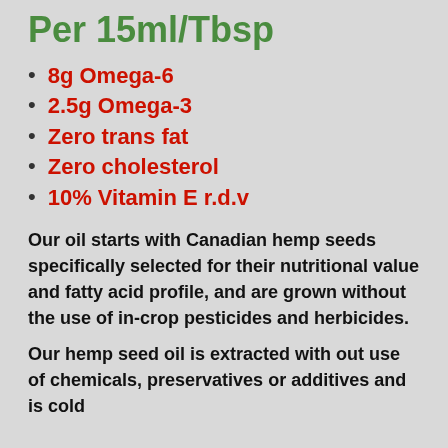Per 15ml/Tbsp
8g Omega-6
2.5g Omega-3
Zero trans fat
Zero cholesterol
10% Vitamin E r.d.v
Our oil starts with Canadian hemp seeds specifically selected for their nutritional value and fatty acid profile, and are grown without the use of in-crop pesticides and herbicides.
Our hemp seed oil is extracted with out use of chemicals, preservatives or additives and is cold